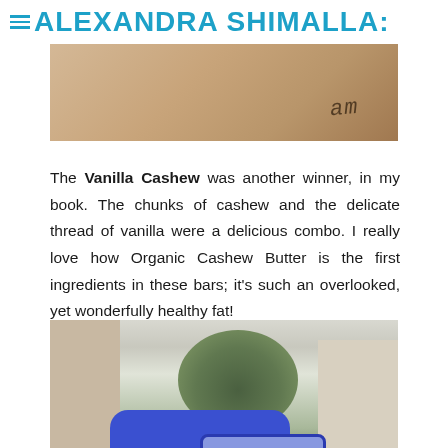ALEXANDRA SHIMALLA:
[Figure (photo): Close-up photo of skin with text 'am' written or tattooed on it, warm beige/tan tones]
The Vanilla Cashew was another winner, in my book. The chunks of cashew and the delicate thread of vanilla were a delicious combo. I really love how Organic Cashew Butter is the first ingredients in these bars; it’s such an overlooked, yet wonderfully healthy fat!
[Figure (photo): Outdoor photo showing a blue packaged product (energy bar or snack) held in front of a building and trees]